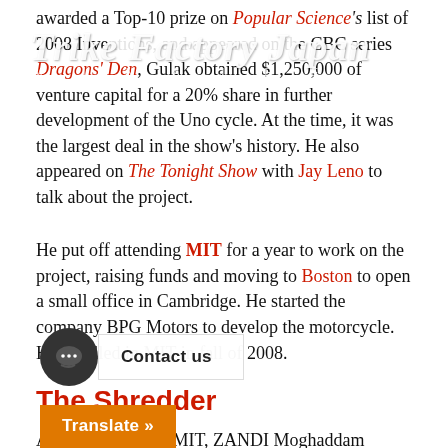Trike Factory Japan
awarded a Top-10 prize on Popular Science's list of 2008 Inventions, and appeared on the CBC series Dragons' Den, Gulak obtained $1,250,000 of venture capital for a 20% share in further development of the Uno cycle. At the time, it was the largest deal in the show's history. He also appeared on The Tonight Show with Jay Leno to talk about the project.
He put off attending MIT for a year to work on the project, raising funds and moving to Boston to open a small office in Cambridge. He started the company BPG Motors to develop the motorcycle. He enrolled in MIT in fall of 2008.
The Shredder
At age 22 while at MIT, ZANDI Moghaddam (مهدی زندی مقدم) partnered with Ryan Fairhead to create the DTV Shredder, an all-terrain vehicle... According to Gulak, "In a recession it doesn't make sense to have to buy an expensive snowmobile that you can only use a few months of the year and an all-terrain